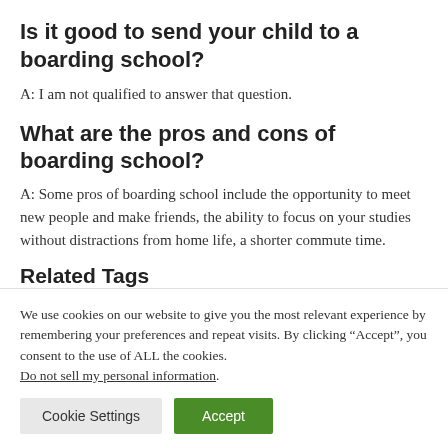Is it good to send your child to a boarding school?
A: I am not qualified to answer that question.
What are the pros and cons of boarding school?
A: Some pros of boarding school include the opportunity to meet new people and make friends, the ability to focus on your studies without distractions from home life, a shorter commute time.
Related Tags
We use cookies on our website to give you the most relevant experience by remembering your preferences and repeat visits. By clicking “Accept”, you consent to the use of ALL the cookies. Do not sell my personal information.